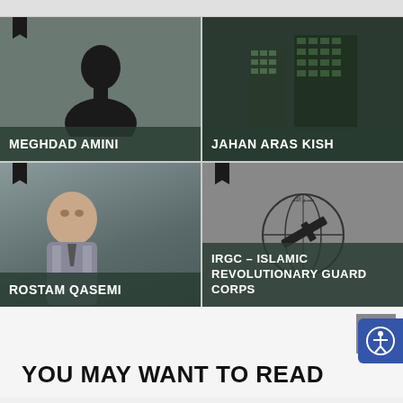[Figure (photo): Card grid showing 4 entries: Meghdad Amini (person silhouette), Jahan Aras Kish (building graphic), Rostam Qasemi (photo of man), IRGC – Islamic Revolutionary Guard Corps (logo)]
MEGHDAD AMINI
JAHAN ARAS KISH
ROSTAM QASEMI
IRGC – ISLAMIC REVOLUTIONARY GUARD CORPS
YOU MAY WANT TO READ